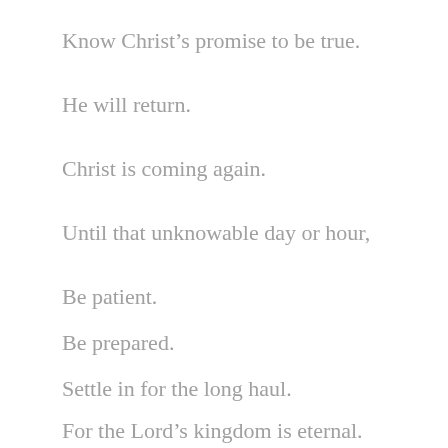Know Christ's promise to be true.
He will return.
Christ is coming again.
Until that unknowable day or hour,
Be patient.
Be prepared.
Settle in for the long haul.
For the Lord's kingdom is eternal.